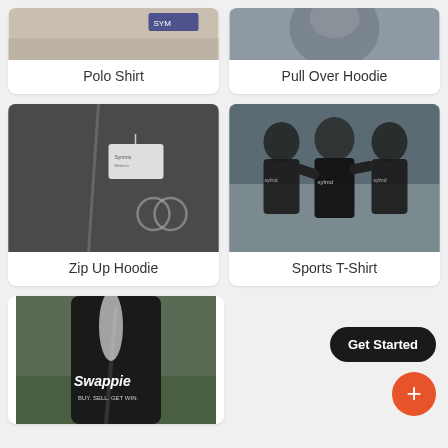[Figure (photo): Polo Shirt product photo, close-up of embroidered garment]
Polo Shirt
[Figure (photo): Pull Over Hoodie product photo, person wearing a hoodie]
Pull Over Hoodie
[Figure (photo): Zip Up Hoodie product photo, close-up of dark zip hoodie with logo]
Zip Up Hoodie
[Figure (photo): Sports T-Shirt product photo, three men in black branded t-shirts]
Sports T-Shirt
[Figure (photo): Swappie branded black bag/jacket product photo]
Get Started